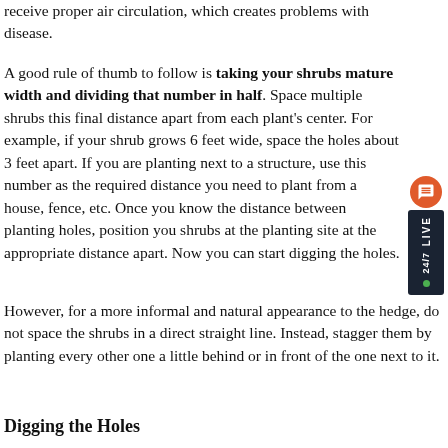receive proper air circulation, which creates problems with disease.
A good rule of thumb to follow is taking your shrubs mature width and dividing that number in half. Space multiple shrubs this final distance apart from each plant's center. For example, if your shrub grows 6 feet wide, space the holes about 3 feet apart. If you are planting next to a structure, use this number as the required distance you need to plant from a house, fence, etc. Once you know the distance between planting holes, position you shrubs at the planting site at the appropriate distance apart. Now you can start digging the holes.
However, for a more informal and natural appearance to the hedge, do not space the shrubs in a direct straight line. Instead, stagger them by planting every other one a little behind or in front of the one next to it.
Digging the Holes